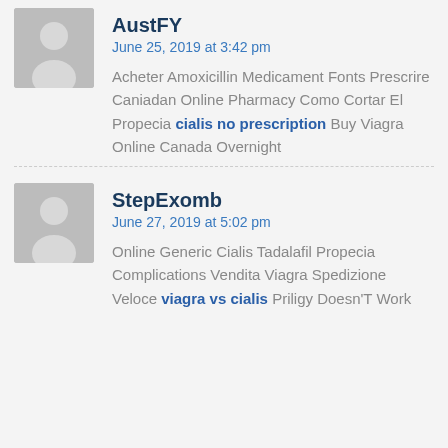AustFY
June 25, 2019 at 3:42 pm
Acheter Amoxicillin Medicament Fonts Prescrire Caniadan Online Pharmacy Como Cortar El Propecia cialis no prescription Buy Viagra Online Canada Overnight
StepExomb
June 27, 2019 at 5:02 pm
Online Generic Cialis Tadalafil Propecia Complications Vendita Viagra Spedizione Veloce viagra vs cialis Priligy Doesn'T Work